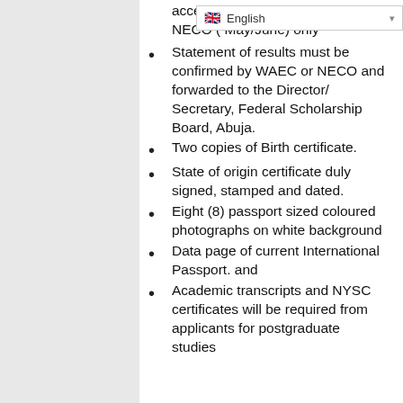accepted ie WAEC NECO ( May/June) only
Statement of results must be confirmed by WAEC or NECO and forwarded to the Director/ Secretary, Federal Scholarship Board, Abuja.
Two copies of Birth certificate.
State of origin certificate duly signed, stamped and dated.
Eight (8) passport sized coloured photographs on white background
Data page of current International Passport. and
Academic transcripts and NYSC certificates will be required from applicants for postgraduate studies